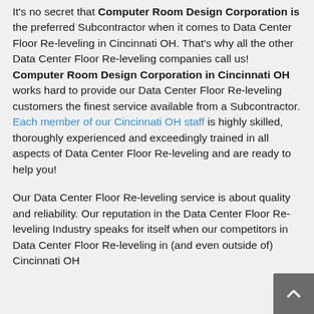It's no secret that Computer Room Design Corporation is the preferred Subcontractor when it comes to Data Center Floor Re-leveling in Cincinnati OH. That's why all the other Data Center Floor Re-leveling companies call us! Computer Room Design Corporation in Cincinnati OH works hard to provide our Data Center Floor Re-leveling customers the finest service available from a Subcontractor. Each member of our Cincinnati OH staff is highly skilled, thoroughly experienced and exceedingly trained in all aspects of Data Center Floor Re-leveling and are ready to help you!
Our Data Center Floor Re-leveling service is about quality and reliability. Our reputation in the Data Center Floor Re-leveling Industry speaks for itself when our competitors in Data Center Floor Re-leveling in (and even outside of) Cincinnati OH